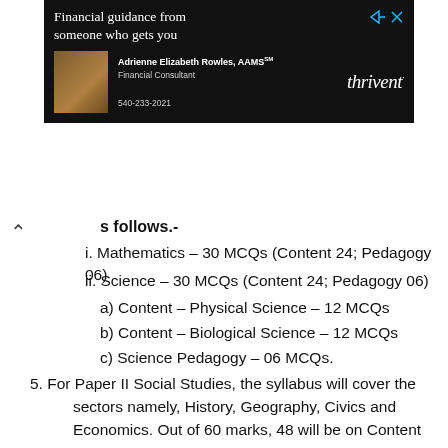[Figure (screenshot): Advertisement banner for Thrivent financial services featuring Adrienne Elizabeth Rowles, AAMS, Financial Consultant, phone 540-233-2021, on dark background]
s follows.-
i. Mathematics – 30 MCQs (Content 24; Pedagogy 06)
ii. Science – 30 MCQs (Content 24; Pedagogy 06)
a) Content – Physical Science – 12 MCQs
b) Content – Biological Science – 12 MCQs
c) Science Pedagogy – 06 MCQs.
5. For Paper II Social Studies, the syllabus will cover the sectors namely, History, Geography, Civics and Economics. Out of 60 marks, 48 will be on Content and the remaining 12 on Pedagogy.
6. For Paper II, the syllabi for TET of Mathematics, Sciences & Social Studies are based on topics of Classes VI to VIII. The difficulty standard of questions as well as their linkages could be up to Senior Secondary level (12th class).